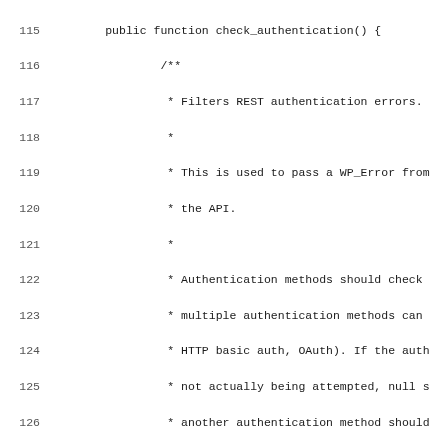Code listing lines 115-146, PHP source code for check_authentication() and error-to-response conversion functions.